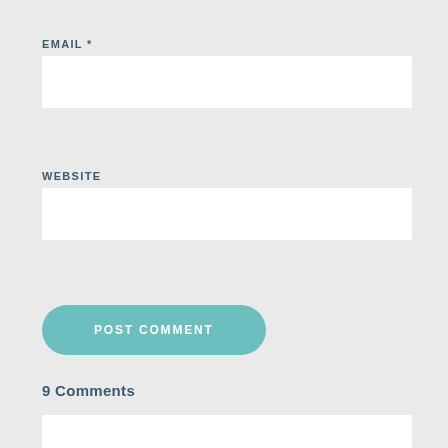EMAIL *
[Figure (other): Empty white input field for email]
WEBSITE
[Figure (other): Empty white input field for website]
POST COMMENT
9 Comments
[Figure (other): White comment box partially visible at bottom]